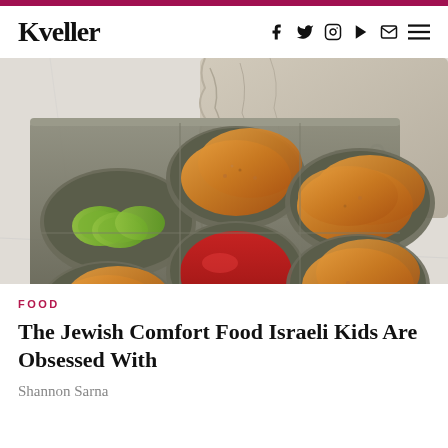Kveller
[Figure (photo): Overhead photo of a vintage muffin tin containing breaded fried food patties (bourekas or similar), ketchup in one compartment, sliced cucumber in another, on a marble surface with a linen towel in the background.]
FOOD
The Jewish Comfort Food Israeli Kids Are Obsessed With
Shannon Sarna